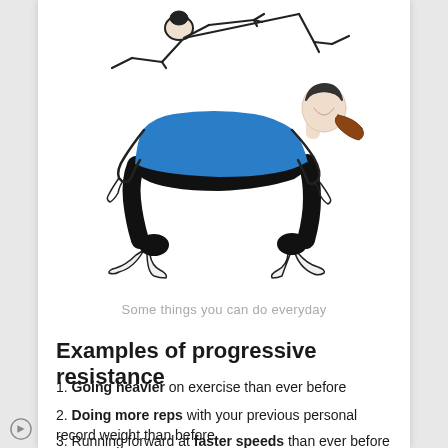[Figure (illustration): Two exercise illustrations: top shows a person in a downward-dog/plank stretch pose (outline), bottom shows a woman in a cat-cow or bear crawl position wearing a blue top and black leggings with a brown ponytail.]
Some things you can do everyday
Examples of progressive resistance
1. Going heavier on exercise than ever before
2. Doing more reps with your previous personal record weight than before
3. Running forward at faster speeds than ever before whether